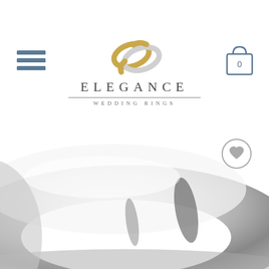[Figure (logo): Elegance Wedding Rings logo with two intertwined rings (gold and silver) above the text ELEGANCE in spaced serif capitals, with WEDDING RINGS in smaller spaced letters below a horizontal rule]
[Figure (illustration): Hamburger menu icon — three horizontal blue-grey bars stacked vertically]
[Figure (illustration): Shopping bag icon with the number 0 inside, outline style in blue-grey]
[Figure (photo): Close-up photograph of a polished silver/platinum wedding band ring on a white background, showing the dome-shaped profile with reflections]